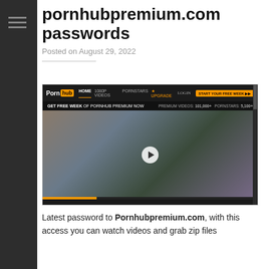pornhubpremium.com passwords
Posted on August 29, 2022
[Figure (screenshot): Screenshot of pornhubpremium.com website showing navigation bar, promotional banner reading 'GET FREE WEEK OF PORNHUB PREMIUM NOW', premium video content thumbnail with a play button, and progress bar at bottom.]
Latest password to Pornhubpremium.com, with this access you can watch videos and grab zip files